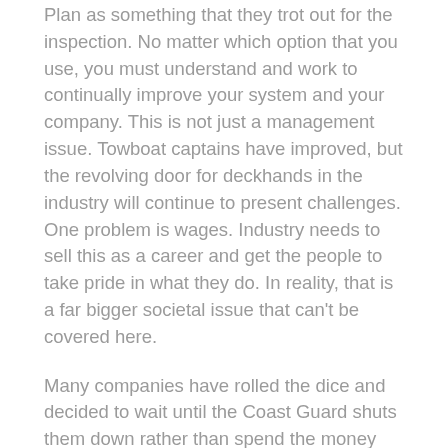Plan as something that they trot out for the inspection. No matter which option that you use, you must understand and work to continually improve your system and your company. This is not just a management issue. Towboat captains have improved, but the revolving door for deckhands in the industry will continue to present challenges. One problem is wages. Industry needs to sell this as a career and get the people to take pride in what they do. In reality, that is a far bigger societal issue that can't be covered here.
Many companies have rolled the dice and decided to wait until the Coast Guard shuts them down rather than spend the money ahead of time to comply. That's not the Coast Guard's fault. It's also not their fault if an operator decides to run substandard equipment with substandard employees. The Coast Guard has a job to do and although I am frustrated with their performance in certain areas, overall, they are trying very hard to get